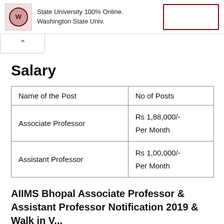[Figure (other): Page header with university logo, text 'State University 100% Online. Washington State Univ.' and a bordered button]
Salary
| Name of the Post | No of Posts |
| --- | --- |
| Associate Professor | Rs 1,88,000/-
Per Month |
| Assistant Professor | Rs 1,00,000/-
Per Month |
AIIMS Bhopal Associate Professor & Assistant Professor Notification 2019 & Walk in V...